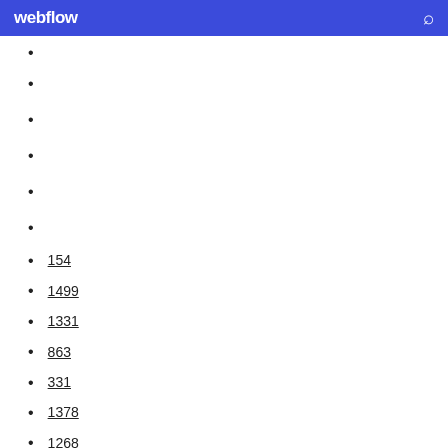webflow
154
1499
1331
863
331
1378
1268